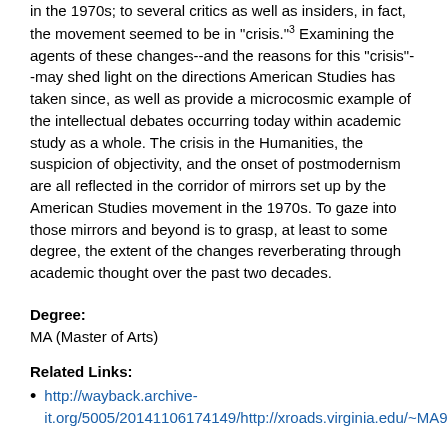in the 1970s; to several critics as well as insiders, in fact, the movement seemed to be in "crisis."³ Examining the agents of these changes--and the reasons for this "crisis"--may shed light on the directions American Studies has taken since, as well as provide a microcosmic example of the intellectual debates occurring today within academic study as a whole. The crisis in the Humanities, the suspicion of objectivity, and the onset of postmodernism are all reflected in the corridor of mirrors set up by the American Studies movement in the 1970s. To gaze into those mirrors and beyond is to grasp, at least to some degree, the extent of the changes reverberating through academic thought over the past two decades.
Degree:
MA (Master of Arts)
Related Links:
http://wayback.archive-it.org/5005/20141106174149/http://xroads.virginia.edu/~MA95/guernsey/intro.html
Notes:
Originally published on the XRoads site for the UVA